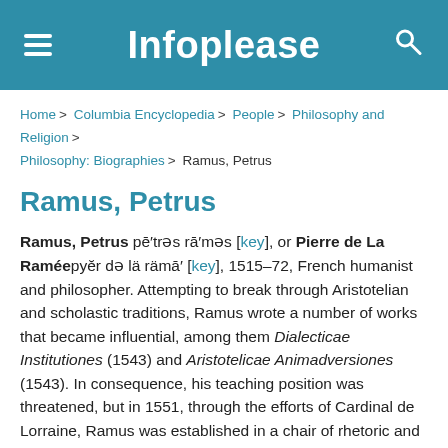Infoplease
Home > Columbia Encyclopedia > People > Philosophy and Religion > Philosophy: Biographies > Ramus, Petrus
Ramus, Petrus
Ramus, Petrus pē′trəs rā′məs [key], or Pierre de La Raméepyĕr də lä rämā′ [key], 1515–72, French humanist and philosopher. Attempting to break through Aristotelian and scholastic traditions, Ramus wrote a number of works that became influential, among them Dialecticae Institutiones (1543) and Aristotelicae Animadversiones (1543). In consequence, his teaching position was threatened, but in 1551, through the efforts of Cardinal de Lorraine, Ramus was established in a chair of rhetoric and philosophy at the Collège de France. In the religious wars of the period Ramus attached himself to the reformers and fled (1568) to Germany. He returned to Paris in 1570 and